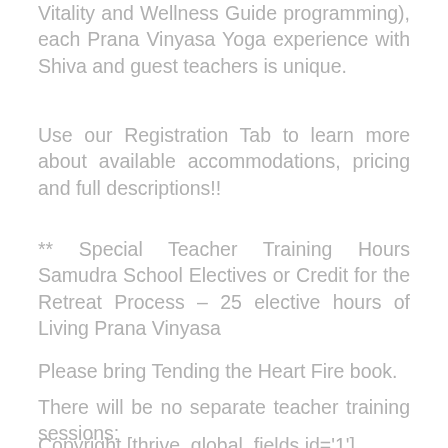Vitality and Wellness Guide programming), each Prana Vinyasa Yoga experience with Shiva and guest teachers is unique.
Use our Registration Tab to learn more about available accommodations, pricing and full descriptions!!
** Special Teacher Training Hours Samudra School Electives or Credit for the Retreat Process – 25 elective hours of Living Prana Vinyasa
Please bring Tending the Heart Fire book.
There will be no separate teacher training sessions:
Copyright [thrive_global_fields id='1']